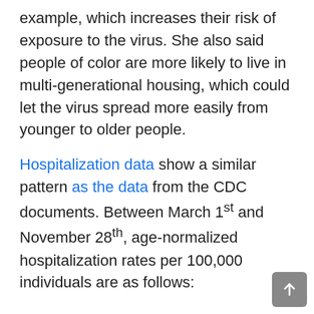example, which increases their risk of exposure to the virus. She also said people of color are more likely to live in multi-generational housing, which could let the virus spread more easily from younger to older people.
Hospitalization data show a similar pattern as the data from the CDC documents. Between March 1st and November 28th, age-normalized hospitalization rates per 100,000 individuals are as follows:
|  |  |
| --- | --- |
| Latinx | 533.7 |
| American Indian/Alaskan Native | 521 |
| Black | 475.5 |